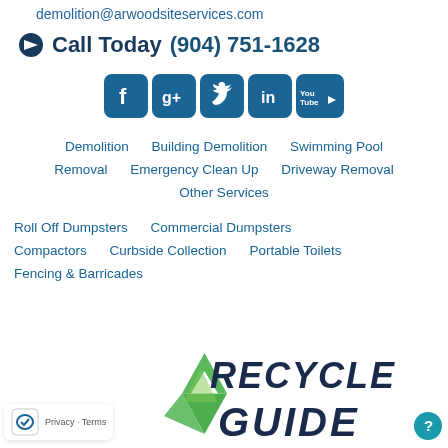demolition@arwoodsiteservices.com
📣 Call Today (904) 751-1628
[Figure (other): Social media icons row: Facebook, Google+, Twitter, LinkedIn, YouTube — all in teal/blue rounded square style]
Demolition    Building Demolition    Swimming Pool Removal    Emergency Clean Up    Driveway Removal    Other Services
Roll Off Dumpsters    Commercial Dumpsters    Compactors    Curbside Collection    Portable Toilets    Fencing & Barricades
[Figure (illustration): Recycle Guide graphic with green recycling arrows logo on left and stylized hand-drawn text 'RECYCLE GUIDE' on right in dark navy]